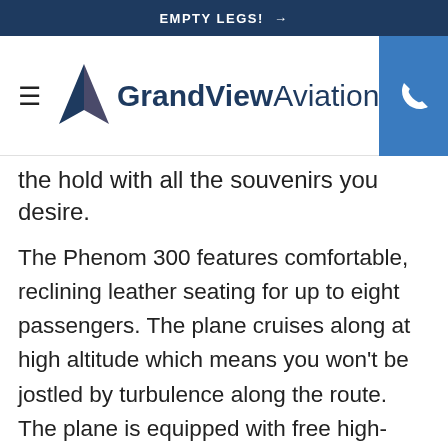EMPTY LEGS! →
[Figure (logo): GrandView Aviation logo with navigation bar including hamburger menu and phone button]
the hold with all the souvenirs you desire.
The Phenom 300 features comfortable, reclining leather seating for up to eight passengers. The plane cruises along at high altitude which means you won't be jostled by turbulence along the route. The plane is equipped with free high-speed Wi-Fi, which makes it easy to stay connected with friends, family, and the office. With a range of 2,000 miles and a speed of 500 mph, the plane is capable of